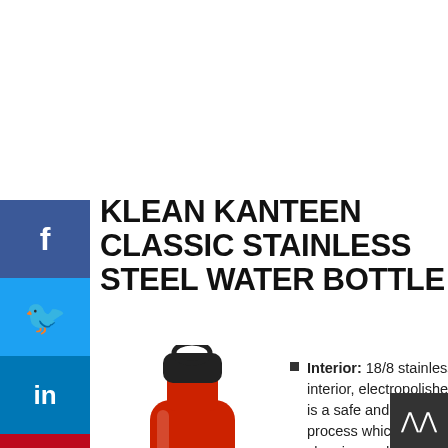KLEAN KANTEEN CLASSIC STAINLESS STEEL WATER BOTTLE
[Figure (photo): Red Klean Kanteen classic stainless steel water bottle with black loop cap]
Interior: 18/8 stainless steel interior, electropolished which is a safe and non-toxic process which helps with cleaning and won't retain or impart flavors.
Wall: Double Wall Vacuum Insulation
Cap: Plastic but they also sell 18 stainless steel, 100% leak proof